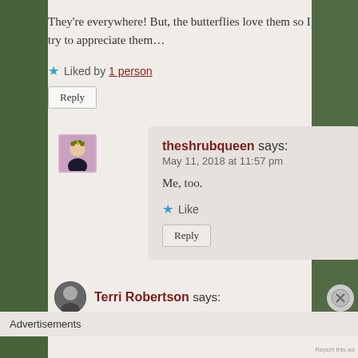They're everywhere! But, the butterflies love them so I try to appreciate them…
★ Liked by 1 person
Reply
theshrubqueen says: May 11, 2018 at 11:57 pm
Me, too.
★ Like
Reply
Terri Robertson says:
Advertisements